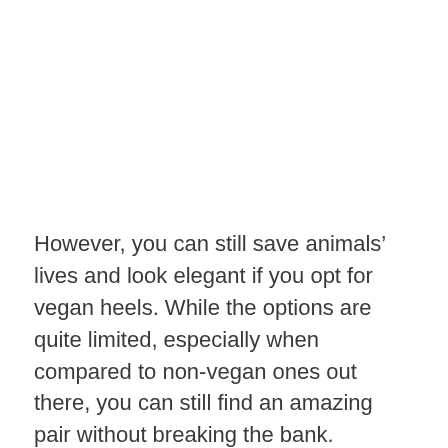However, you can still save animals' lives and look elegant if you opt for vegan heels. While the options are quite limited, especially when compared to non-vegan ones out there, you can still find an amazing pair without breaking the bank.